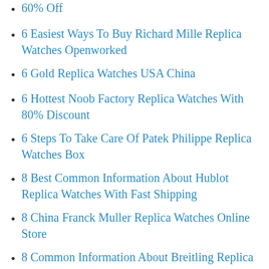60% Off
6 Easiest Ways To Buy Richard Mille Replica Watches Openworked
6 Gold Replica Watches USA China
6 Hottest Noob Factory Replica Watches With 80% Discount
6 Steps To Take Care Of Patek Philippe Replica Watches Box
8 Best Common Information About Hublot Replica Watches With Fast Shipping
8 China Franck Muller Replica Watches Online Store
8 Common Information About Breitling Replica Watches With Big Discount
8 Reasons To Get Rolex Replica Watches 2021